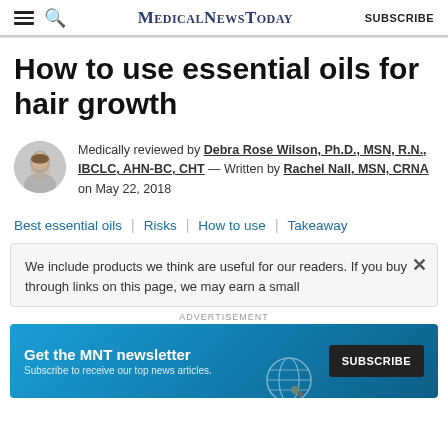MedicalNewsToday  SUBSCRIBE
How to use essential oils for hair growth
Medically reviewed by Debra Rose Wilson, Ph.D., MSN, R.N., IBCLC, AHN-BC, CHT — Written by Rachel Nall, MSN, CRNA on May 22, 2018
Best essential oils | Risks | How to use | Takeaway
We include products we think are useful for our readers. If you buy through links on this page, we may earn a small
ADVERTISEMENT
Get the MNT newsletter — Subscribe to receive our top news articles.  SUBSCRIBE